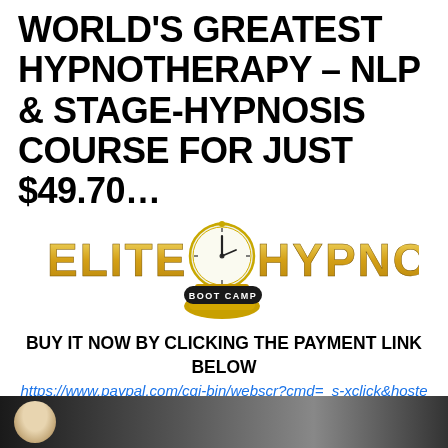WORLD'S GREATEST HYPNOTHERAPY – NLP & STAGE-HYPNOSIS COURSE FOR JUST $49.70…
[Figure (logo): Elite Hypnosis Boot Camp logo with gold lettering, clock icon, and gold money bags]
BUY IT NOW BY CLICKING THE PAYMENT LINK BELOW
https://www.paypal.com/cgi-bin/webscr?cmd=_s-xclick&hosted_button_id=KA5F3CYPGYM7C
[Figure (photo): Partial photo showing a person at the bottom of the page]